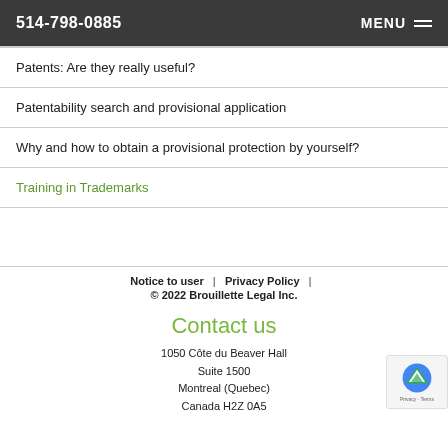514-798-0885  MENU
Patents: Are they really useful?
Patentability search and provisional application
Why and how to obtain a provisional protection by yourself?
Training in Trademarks
Notice to user | Privacy Policy | © 2022 Brouillette Legal Inc.
Contact us
1050 Côte du Beaver Hall
Suite 1500
Montreal (Quebec)
Canada H2Z 0A5